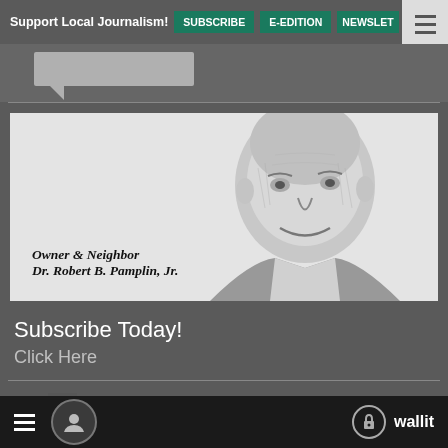Support Local Journalism! SUBSCRIBE E-EDITION NEWSLET
[Figure (illustration): Advertisement banner with illustrated portrait of Dr. Robert B. Pamplin Jr. — a black-and-white engraving-style portrait of an older smiling man in a suit, with text 'Owner & Neighbor Dr. Robert B. Pamplin, Jr.' on a light grey background.]
Subscribe Today!
Click Here
Advertise with Us
≡  [user icon]  🔒 wallit